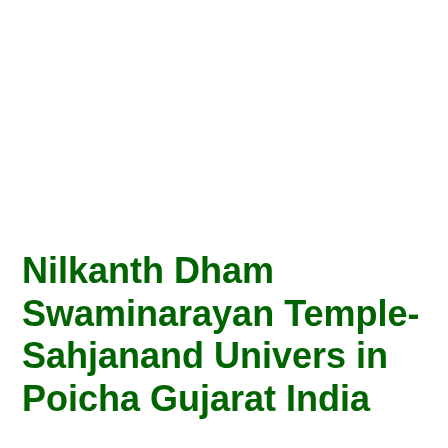Nilkanth Dham Swaminarayan Temple-Sahjanand Univers in Poicha Gujarat India